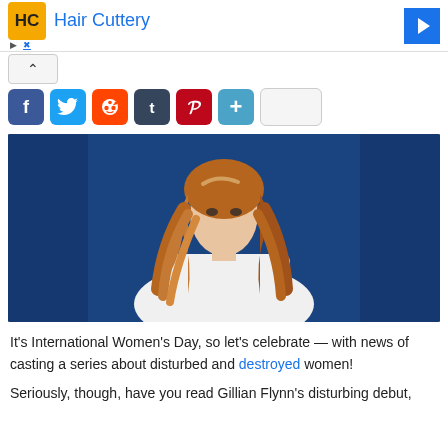[Figure (logo): Hair Cuttery advertisement banner with HC logo in orange square, Hair Cuttery text in blue, blue arrow icon on right, ad meta labels (triangle and X) on left]
[Figure (photo): Woman with long wavy auburn/red hair wearing a white blazer against a dark blue background, looking at camera]
It's International Women's Day, so let's celebrate — with news of casting a series about disturbed and destroyed women!
Seriously, though, have you read Gillian Flynn's disturbing debut,